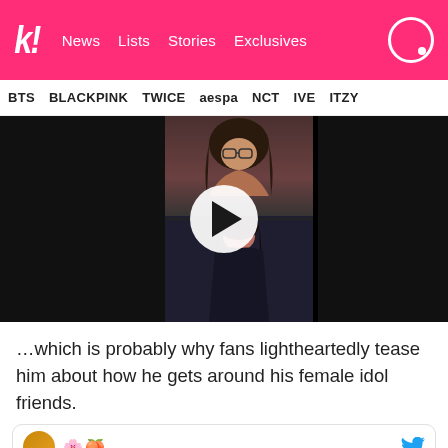k! News Lists Stories Exclusives
BTS BLACKPINK TWICE aespa NCT IVE ITZY
[Figure (screenshot): Video thumbnail with play button showing a person with long dark hair, split into two panels (top and bottom), against a dark background.]
…which is probably why fans lightheartedly tease him about how he gets around his female idol friends.
[Figure (screenshot): Beginning of a social media card with a profile avatar and emoji icons, with a Twitter bird icon on the right.]